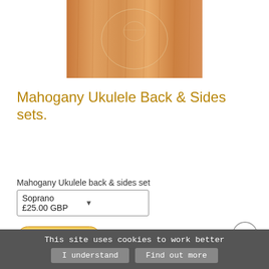[Figure (photo): Mahogany wood grain texture photo showing the back panel of a ukulele, light brown wood with visible grain lines and an oval routing mark.]
Mahogany Ukulele Back & Sides sets.
Mahogany Ukulele back & sides set
Soprano £25.00 GBP
[Figure (other): Add to Cart button - yellow/gold gradient pill-shaped button with bold italic text]
[Figure (other): Scroll to top circular button with upward arrow]
This site uses cookies to work better
I understand
Find out more